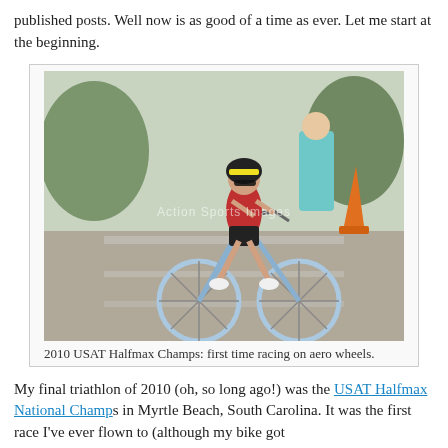published posts. Well now is as good of a time as ever. Let me start at the beginning.
[Figure (photo): A female triathlete riding a road bike with aero wheels during a race. She is wearing a helmet, sunglasses, and a red and black trisuit. Other participants and an orange traffic cone are visible in the background. A watermark reading 'Action Sports Images' is overlaid on the photo.]
2010 USAT Halfmax Champs: first time racing on aero wheels.
My final triathlon of 2010 (oh, so long ago!) was the USAT Halfmax National Champs in Myrtle Beach, South Carolina. It was the first race I've ever flown to (although my bike got